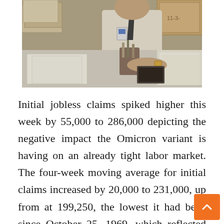[Figure (photo): A man in a shirt and tie working at a cluttered desk covered in papers and stacked boxes, appearing to be in an office setting with filing materials.]
Initial jobless claims spiked higher this week by 55,000 to 286,000 depicting the negative impact the Omicron variant is having on an already tight labor market. The four-week moving average for initial claims increased by 20,000 to 231,000, up from at 199,250, the lowest it had been since October 25, 1969, which reflected the tightness of the labor market before Omicron. Americans filing for